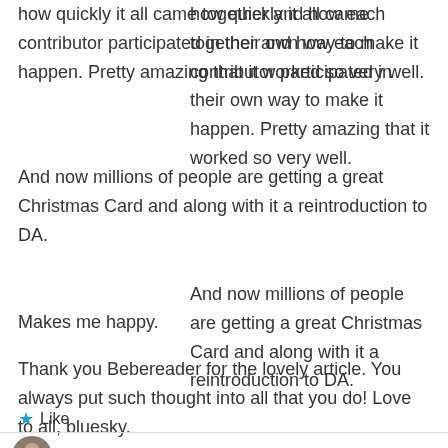how quickly it all came together and how each contributor participated in their own way to make it happen. Pretty amazing that it worked so very well.
And now millions of people are getting a great Christmas Card and along with it a reintroduction to DA.
Makes me happy.
Thank you Bebereader for the lovely article. You always put such thought into all that you do! Love to all, bluesky.
★ Like
jans11 on Friday, December 26, 2014 at 10:41 PM